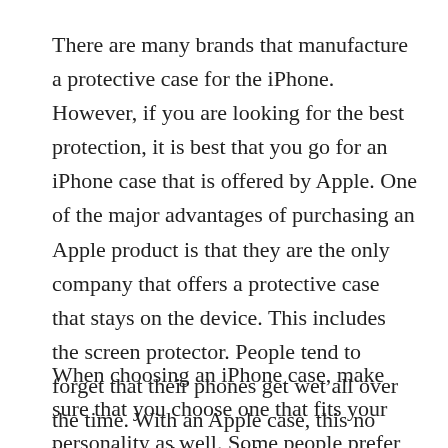There are many brands that manufacture a protective case for the iPhone. However, if you are looking for the best protection, it is best that you go for an iPhone case that is offered by Apple. One of the major advantages of purchasing an Apple product is that they are the only company that offers a protective case that stays on the device. This includes the screen protector. People tend to forget that their phones get wet all over the time. With an Apple case, this no longer has to be a problem.
When choosing an iPhone case, make sure that you choose one that fits your personality as well. Some people prefer